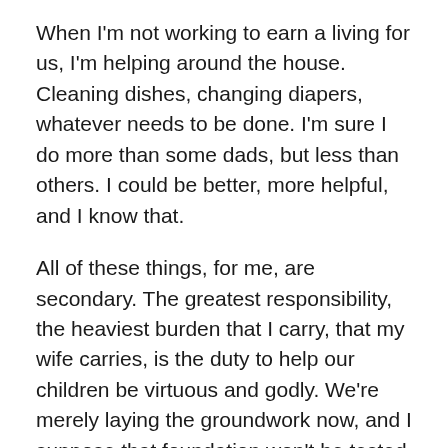When I'm not working to earn a living for us, I'm helping around the house. Cleaning dishes, changing diapers, whatever needs to be done. I'm sure I do more than some dads, but less than others. I could be better, more helpful, and I know that.
All of these things, for me, are secondary. The greatest responsibility, the heaviest burden that I carry, that my wife carries, is the duty to help our children be virtuous and godly. We're merely laying the groundwork now, and I suppose that foundation won't be tested until our kids reach the age of reason and start choosing to do right for the sake of what is right, or wrong for the sake of their own selfishness.
I know that my job and my wife's job, more than anything, above everything, more important than paying the bills or